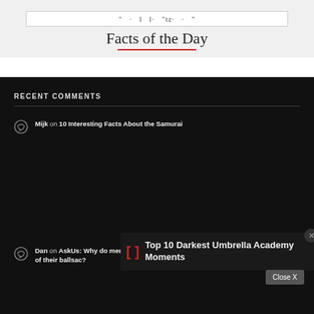Facts of the Day
RECENT COMMENTS
Mijk on 10 Interesting Facts About the Samurai
[Figure (other): Ad overlay for Top 10 Darkest Umbrella Academy Moments with bracket icon and close button]
Dan on AskUs: Why do men appear to have a "stitch line" or "scar line" at the base of their ballsac?